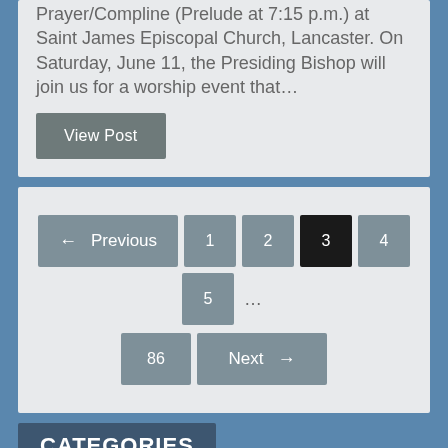Prayer/Compline (Prelude at 7:15 p.m.) at Saint James Episcopal Church, Lancaster. On Saturday, June 11, the Presiding Bishop will join us for a worship event that…
View Post
← Previous  1  2  3  4  5  …  86  Next →
CATEGORIES